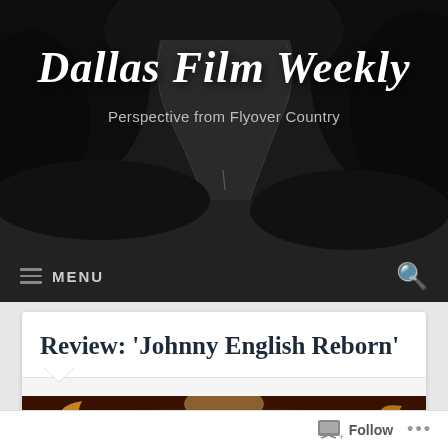Dallas Film Weekly — Perspective from Flyover Country
[Figure (screenshot): Black and white photo of a winding road through dark trees, used as website header background]
Review: 'Johnny English Reborn'
[Figure (photo): Movie promotional image showing a man's face with fire/explosion in the background]
Follow ...